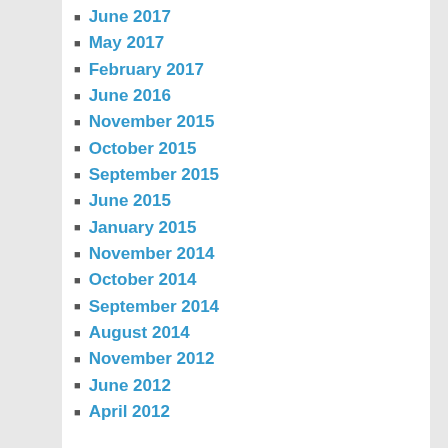June 2017
May 2017
February 2017
June 2016
November 2015
October 2015
September 2015
June 2015
January 2015
November 2014
October 2014
September 2014
August 2014
November 2012
June 2012
April 2012
CATEGORIES
Children
Contribution
Estate Planning